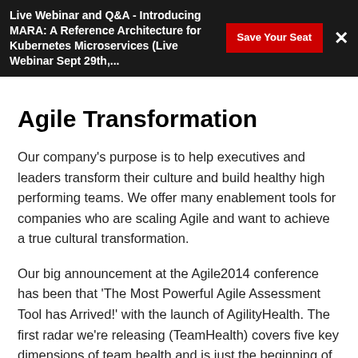Live Webinar and Q&A - Introducing MARA: A Reference Architecture for Kubernetes Microservices (Live Webinar Sept 29th,... | Save Your Seat | ×
Agile Transformation
Our company's purpose is to help executives and leaders transform their culture and build healthy high performing teams. We offer many enablement tools for companies who are scaling Agile and want to achieve a true cultural transformation.
Our big announcement at the Agile2014 conference has been that 'The Most Powerful Agile Assessment Tool has Arrived!' with the launch of AgilityHealth. The first radar we're releasing (TeamHealth) covers five key dimensions of team health and is just the beginning of several radars that will be released